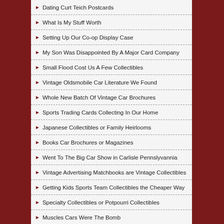Dating Curt Teich Postcards
What Is My Stuff Worth
Setting Up Our Co-op Display Case
My Son Was Disappointed By A Major Card Company
Small Flood Cost Us A Few Collectibles
Vintage Oldsmobile Car Literature We Found
Whole New Batch Of Vintage Car Brochures
Sports Trading Cards Collecting In Our Home
Japanese Collectibles or Family Heirlooms
Books Car Brochures or Magazines
Went To The Big Car Show in Carlisle Pennslyvannia
Vintage Advertising Matchbooks are Vintage Collectibles
Getting Kids Sports Team Collectibles the Cheaper Way
Specialty Collectibles or Potpourri Collectibles
Muscles Cars Were The Bomb
Favorite Collectible I Found For Myself
Kids Collectibles National Parks Badges
What Friends Told Me About Collecting
This Product Is Sold